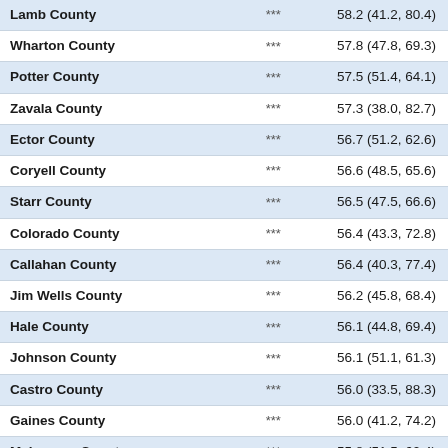| County |  | Value (CI) |
| --- | --- | --- |
| Lamb County | *** | 58.2 (41.2, 80.4) |
| Wharton County | *** | 57.8 (47.8, 69.3) |
| Potter County | *** | 57.5 (51.4, 64.1) |
| Zavala County | *** | 57.3 (38.0, 82.7) |
| Ector County | *** | 56.7 (51.2, 62.6) |
| Coryell County | *** | 56.6 (48.5, 65.6) |
| Starr County | *** | 56.5 (47.5, 66.6) |
| Colorado County | *** | 56.4 (43.3, 72.8) |
| Callahan County | *** | 56.4 (40.3, 77.4) |
| Jim Wells County | *** | 56.2 (45.8, 68.4) |
| Hale County | *** | 56.1 (44.8, 69.4) |
| Johnson County | *** | 56.1 (51.1, 61.3) |
| Castro County | *** | 56.0 (33.5, 88.3) |
| Gaines County | *** | 56.0 (41.2, 74.2) |
| McLennan County | *** | 55.8 (51.5, 60.4) |
| Wilbarger County | *** | 55.3 (38.5, 77.4) |